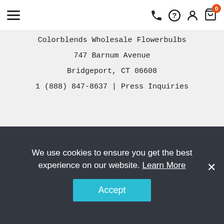Navigation bar with hamburger menu, phone icon, help icon, user icon, cart icon with badge 0
Colorblends Wholesale Flowerbulbs
747 Barnum Avenue
Bridgeport, CT 06608
1 (888) 847-8637 | Press Inquiries
Join Our Email List
Your Email Address
We use cookies to ensure you get the best experience on our website. Learn More
Accept